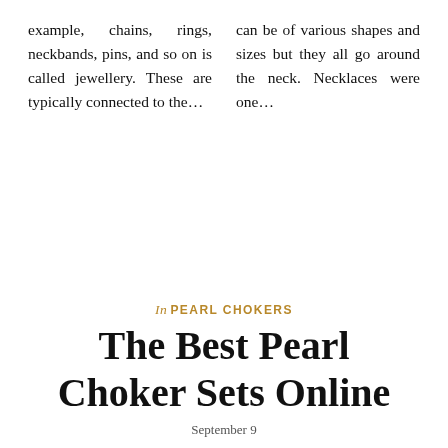example, chains, rings, neckbands, pins, and so on is called jewellery. These are typically connected to the...
can be of various shapes and sizes but they all go around the neck. Necklaces were one...
In PEARL CHOKERS
The Best Pearl Choker Sets Online
September 9